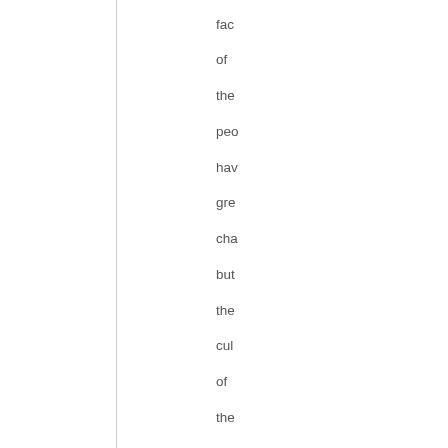fac of the pe hav gre cha but the cul of the reg is con A cou of De hav atte to shi the cul